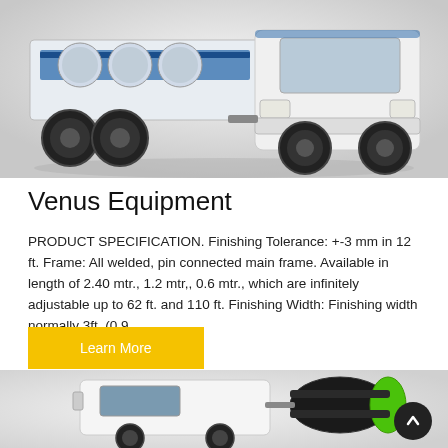[Figure (photo): Heavy-duty truck/equipment with blue and white coloring on a light background, viewed from the front-side angle]
Venus Equipment
PRODUCT SPECIFICATION. Finishing Tolerance: +-3 mm in 12 ft. Frame: All welded, pin connected main frame. Available in length of 2.40 mtr., 1.2 mtr,, 0.6 mtr., which are infinitely adjustable up to 62 ft. and 110 ft. Finishing Width: Finishing width normally 3ft. (0.9 ...
Learn More
[Figure (photo): White truck/vehicle with a green and dark cylindrical mixer attachment, viewed from the side]